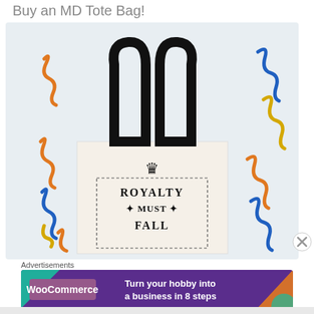Buy an MD Tote Bag!
[Figure (photo): A canvas tote bag with black handles on a decorated background with colorful confetti streamers. The bag has a crown graphic above a dashed-border rectangle reading 'ROYALTY MUST FALL' in black serif text.]
Advertisements
[Figure (screenshot): WooCommerce advertisement banner: purple background with WooCommerce logo on left and text 'Turn your hobby into a business in 8 steps' on right, with teal and orange decorative shapes.]